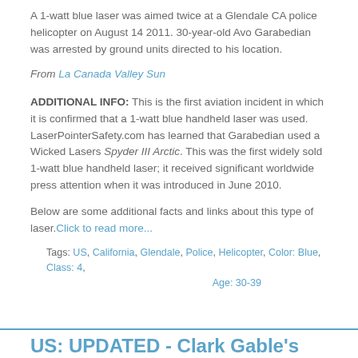A 1-watt blue laser was aimed twice at a Glendale CA police helicopter on August 14 2011. 30-year-old Avo Garabedian was arrested by ground units directed to his location.
From La Canada Valley Sun
ADDITIONAL INFO: This is the first aviation incident in which it is confirmed that a 1-watt blue handheld laser was used. LaserPointerSafety.com has learned that Garabedian used a Wicked Lasers Spyder III Arctic. This was the first widely sold 1-watt blue handheld laser; it received significant worldwide press attention when it was introduced in June 2010.
Below are some additional facts and links about this type of laser. Click to read more...
Tags: US, California, Glendale, Police, Helicopter, Color: Blue, Class: 4, Age: 30-39
US: UPDATED - Clark Gable's